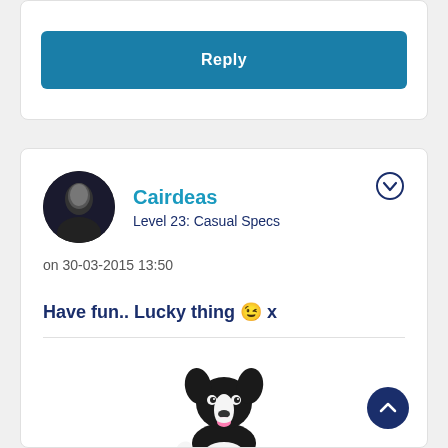Reply
Cairdeas
Level 23: Casual Specs
on 30-03-2015 13:50
Have fun.. Lucky thing 😉 x
[Figure (illustration): Cartoon black and white border collie dog sitting and waving]